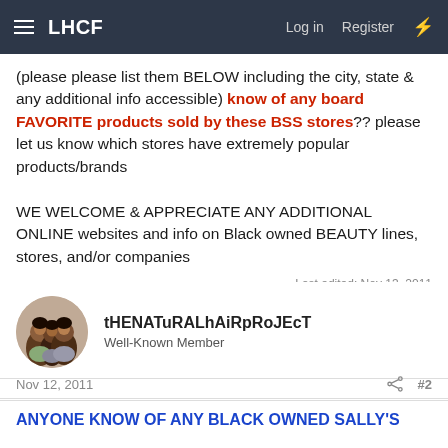LHCF | Log in | Register
(please please list them BELOW including the city, state & any additional info accessible) know of any board FAVORITE products sold by these BSS stores?? please let us know which stores have extremely popular products/brands

WE WELCOME & APPRECIATE ANY ADDITIONAL ONLINE websites and info on Black owned BEAUTY lines, stores, and/or companies

Last edited: Nov 13, 2011
tHENATuRALhAiRpRoJEcT
Well-Known Member
Nov 12, 2011 #2
ANYONE KNOW OF ANY BLACK OWNED SALLY'S